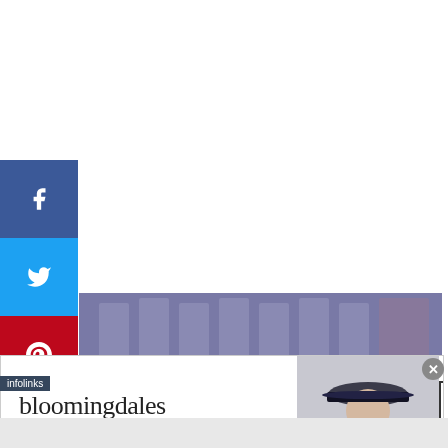[Figure (other): Social media share buttons column on left side: Facebook (blue), Twitter (light blue), Pinterest (red), LinkedIn (blue), Tumblr (dark slate)]
[Figure (other): Background photo strip showing blurred urban/shopping scene in purple-blue tones, with infolinks label overlay]
[Figure (other): Bloomingdales advertisement banner: logo text, tagline 'View Today's Top Deals!', model photo with wide-brim hat, 'SHOP NOW >' button]